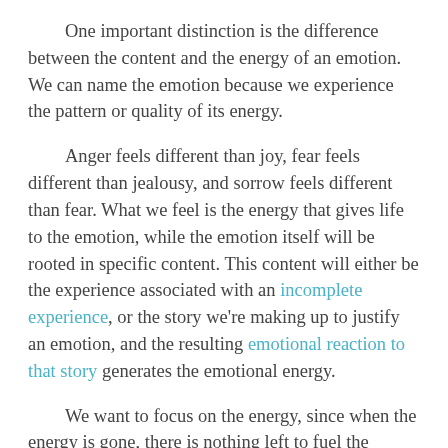One important distinction is the difference between the content and the energy of an emotion. We can name the emotion because we experience the pattern or quality of its energy.
Anger feels different than joy, fear feels different than jealousy, and sorrow feels different than fear. What we feel is the energy that gives life to the emotion, while the emotion itself will be rooted in specific content. This content will either be the experience associated with an incomplete experience, or the story we're making up to justify an emotion, and the resulting emotional reaction to that story generates the emotional energy.
We want to focus on the energy, since when the energy is gone, there is nothing left to fuel the